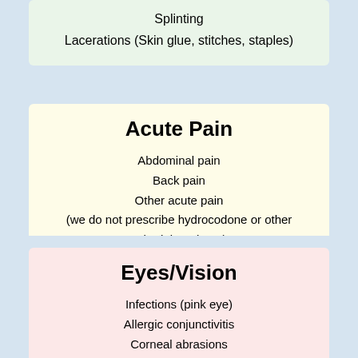Splinting
Lacerations (Skin glue, stitches, staples)
Acute Pain
Abdominal pain
Back pain
Other acute pain
(we do not prescribe hydrocodone or other schedule II drugs)
Eyes/Vision
Infections (pink eye)
Allergic conjunctivitis
Corneal abrasions
Foreign objects
Sty/horion (stye)